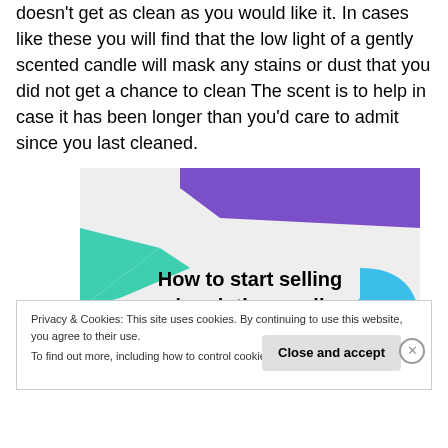doesn't get as clean as you would like it. In cases like these you will find that the low light of a gently scented candle will mask any stains or dust that you did not get a chance to clean The scent is to help in case it has been longer than you'd care to admit since you last cleaned.
[Figure (illustration): Promotional image with purple and teal geometric shapes on a light gray background with bold text reading 'How to start selling subscriptions online']
Privacy & Cookies: This site uses cookies. By continuing to use this website, you agree to their use.
To find out more, including how to control cookies, see here: Cookie Policy
Close and accept